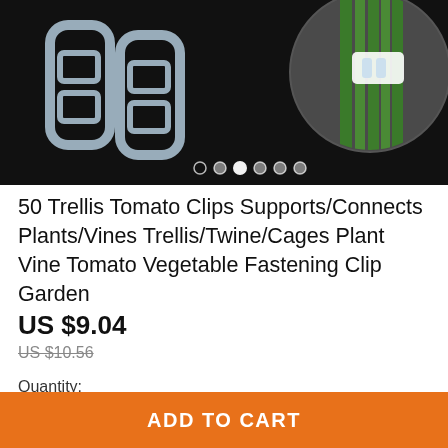[Figure (photo): Product image showing plastic trellis tomato clips on a black background, with several clips on the left and a circular inset on the right showing a clip used on green plant stems. Carousel dots are visible at the bottom of the image.]
50 Trellis Tomato Clips Supports/Connects Plants/Vines Trellis/Twine/Cages Plant Vine Tomato Vegetable Fastening Clip Garden
US $9.04
US $10.56
Quantity:
ADD TO CART